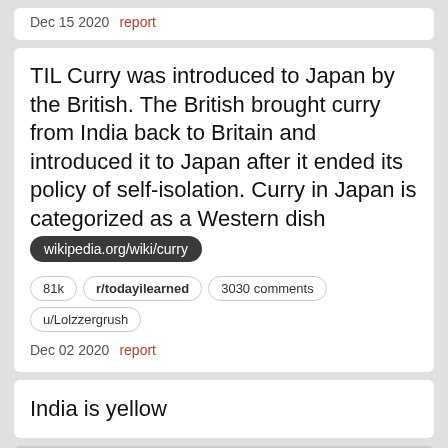Dec 15 2020   report
TIL Curry was introduced to Japan by the British. The British brought curry from India back to Britain and introduced it to Japan after it ended its policy of self-isolation. Curry in Japan is categorized as a Western dish  wikipedia.org/wiki/curry
81k   r/todayilearned   3030 comments   u/Lolzzergrush
Dec 02 2020   report
India is yellow
How India looks actually